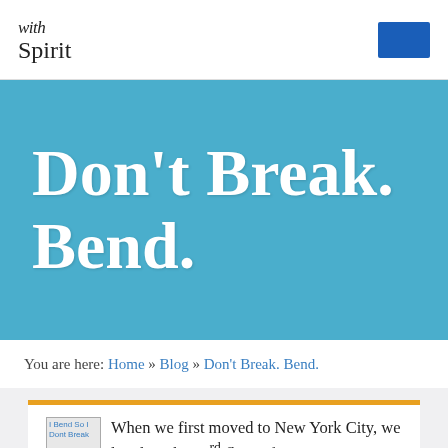with Spirit
Don't Break. Bend.
You are here: Home » Blog » Don't Break. Bend.
[Figure (screenshot): Thumbnail image placeholder labeled 'I Bend So I Dont Break']
When we first moved to New York City, we lived on the 43rd floor of an apartment building. We